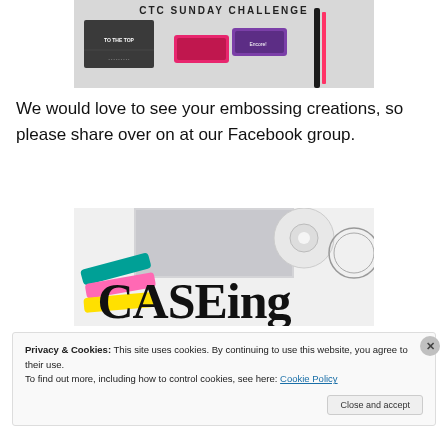[Figure (photo): CTC Sunday Challenge banner image with craft supplies including ink pads and a stamp set on a grey background]
We would love to see your embossing creations, so please share over on at our Facebook group.
[Figure (photo): CASEing craft challenge blog banner with colorful markers, glitter paper, and tape on a white surface with large 'CASEing' text]
Privacy & Cookies: This site uses cookies. By continuing to use this website, you agree to their use.
To find out more, including how to control cookies, see here: Cookie Policy
Close and accept